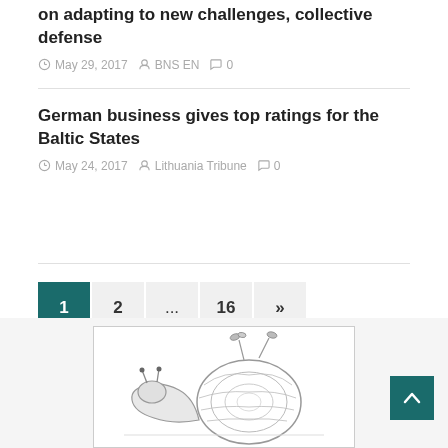on adapting to new challenges, collective defense
May 29, 2017   BNS EN   0
German business gives top ratings for the Baltic States
May 24, 2017   Lithuania Tribune   0
Pagination: 1  2  ...  16  »
[Figure (illustration): Pencil sketch illustration of a snail with plants/flowers on its shell, in black and white]